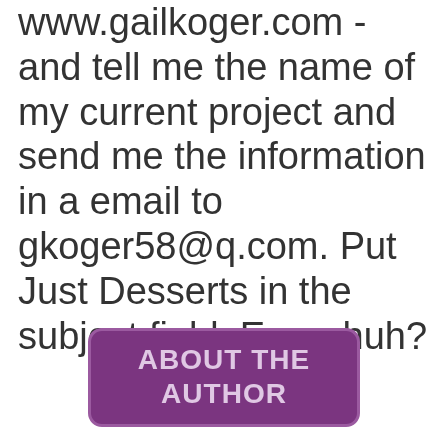www.gailkoger.com - and tell me the name of my current project and send me the information in a email to gkoger58@q.com. Put Just Desserts in the subject field. Easy, huh?
About the Author